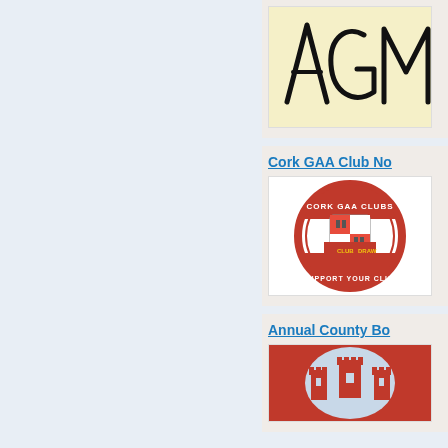[Figure (illustration): Handwritten 'AGM' text on a cream/yellow background]
Cork GAA Club No
[Figure (logo): Cork GAA Clubs Club Draw circular logo with shield emblem and text 'SUPPORT YOUR CLUB']
Annual County Bo
[Figure (logo): Cork GAA county crest with castle towers on red background]